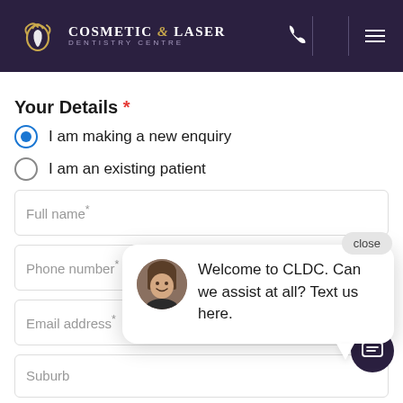[Figure (logo): Cosmetic & Laser Dentistry Centre logo with tooth icon on dark purple header]
Your Details *
I am making a new enquiry
I am an existing patient
Full name*
Phone number*
Email address*
[Figure (screenshot): Chat popup with avatar photo of woman and text: Welcome to CLDC. Can we assist at all? Text us here. With close button.]
Suburb
How can we assist? *